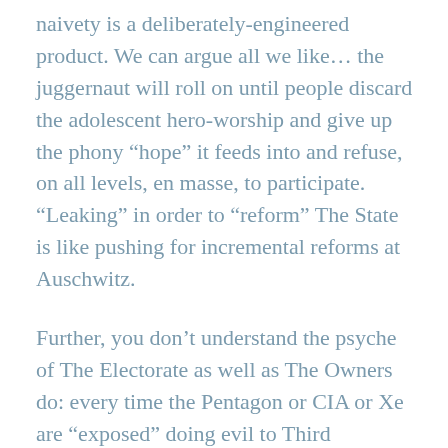naivety is a deliberately-engineered product. We can argue all we like... the juggernaut will roll on until people discard the adolescent hero-worship and give up the phony “hope” it feeds into and refuse, on all levels, en masse, to participate. “Leaking” in order to “reform” The State is like pushing for incremental reforms at Auschwitz.
Further, you don’t understand the psyche of The Electorate as well as The Owners do: every time the Pentagon or CIA or Xe are “exposed” doing evil to Third Worlders, for example, The Electorate